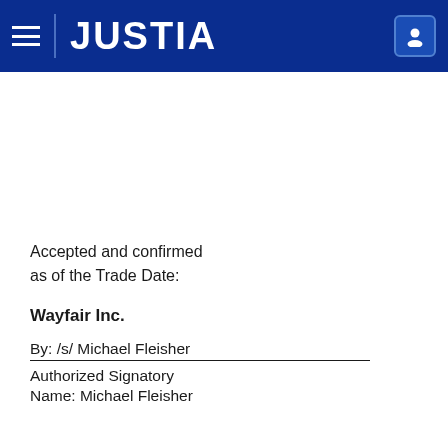JUSTIA
Accepted and confirmed as of the Trade Date:
Wayfair Inc.
By: /s/ Michael Fleisher
Authorized Signatory
Name: Michael Fleisher